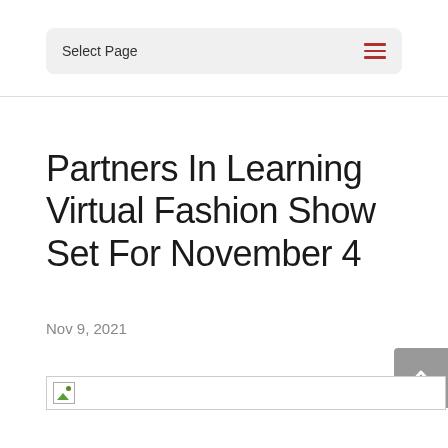Select Page
Partners In Learning Virtual Fashion Show Set For November 4
Nov 9, 2021
[Figure (photo): Broken image placeholder for article photo]